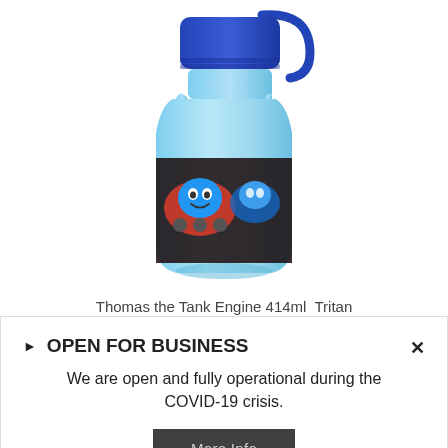[Figure (photo): A light blue plastic water bottle with a dark blue screw-on lid and a blue carry loop, featuring a Thomas the Tank Engine graphic wrap around the middle portion of the bottle.]
Thomas the Tank Engine 414ml Tritan
▶ OPEN FOR BUSINESS
We are open and fully operational during the COVID-19 crisis.
More Info